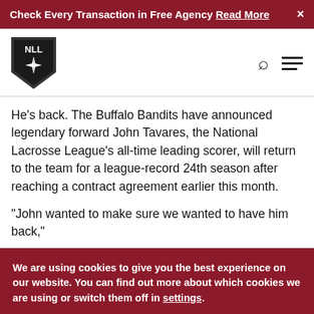Check Every Transaction in Free Agency Read More
[Figure (logo): NLL (National Lacrosse League) shield logo with star/compass design]
He’s back. The Buffalo Bandits have announced legendary forward John Tavares, the National Lacrosse League’s all-time leading scorer, will return to the team for a league-record 24th season after reaching a contract agreement earlier this month.
“John wanted to make sure we wanted to have him back,”
We are using cookies to give you the best experience on our website. You can find out more about which cookies we are using or switch them off in settings.